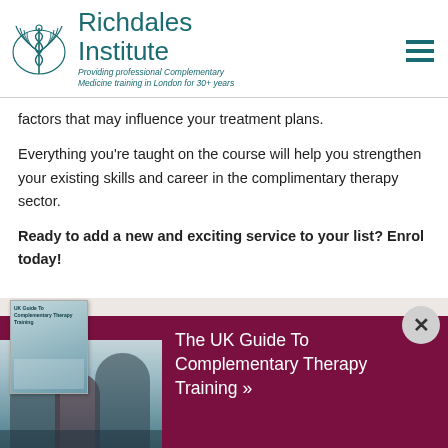Richdales Institute — Providing professional Complementary Medicine training in London for 30+ years
factors that may influence your treatment plans.
Everything you're taught on the course will help you strengthen your existing skills and career in the complimentary therapy sector.
Ready to add a new and exciting service to your list? Enrol today!
[Figure (illustration): Promotional banner with book cover and photo of therapy session, with text 'The UK Guide To Complementary Therapy Training »' on a dark red/maroon background]